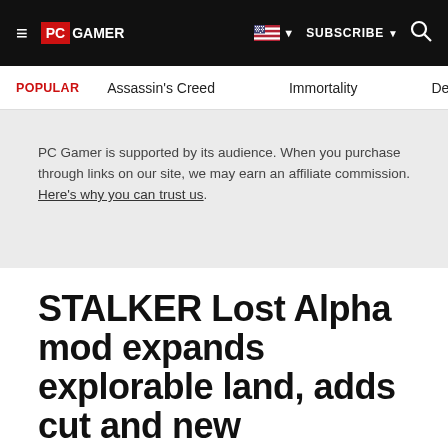PC GAMER | SUBSCRIBE | Search
POPULAR   Assassin's Creed   Immortality   De
PC Gamer is supported by its audience. When you purchase through links on our site, we may earn an affiliate commission. Here's why you can trust us.
STALKER Lost Alpha mod expands explorable land, adds cut and new